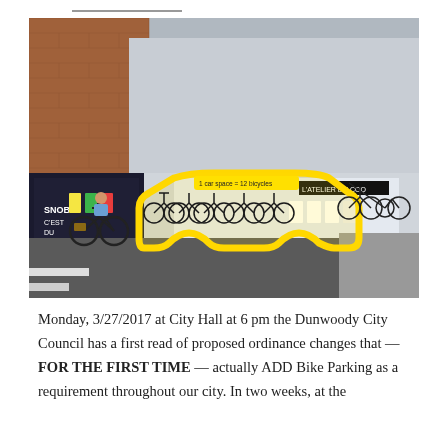[Figure (photo): Street scene with a yellow car-shaped bicycle parking rack filled with bicycles, in front of a row of shops. A cyclist on a Dutch-style bike passes by on the left. The yellow outline is in the shape of a car/taxi silhouette with text inside reading 'Last space = 12 bicycles'. Storefronts visible include 'L'ATELIER DU COQ' and a sports shop with jerseys displayed.]
Monday, 3/27/2017 at City Hall at 6 pm the Dunwoody City Council has a first read of proposed ordinance changes that — FOR THE FIRST TIME — actually ADD Bike Parking as a requirement throughout our city. In two weeks, at the